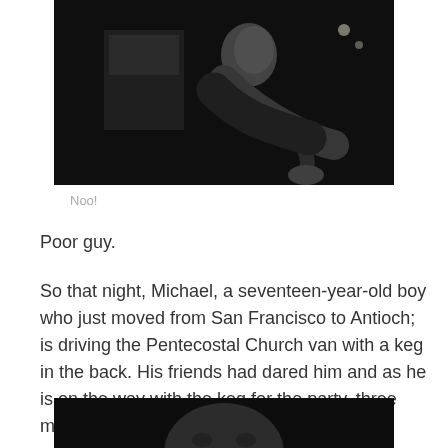[Figure (photo): Black and white photograph of a person bending forward, possibly distressed, outdoors at night with lights visible in the background.]
Noo!
Poor guy.
So that night, Michael, a seventeen-year-old boy who just moved from San Francisco to Antioch; is driving the Pentecostal Church van with a keg in the back. His friends had dared him and as he is on the way with the keg for the party, three men appear in the road.
[Figure (photo): Black and white photograph, bottom portion visible, appears to show a person's face from below.]